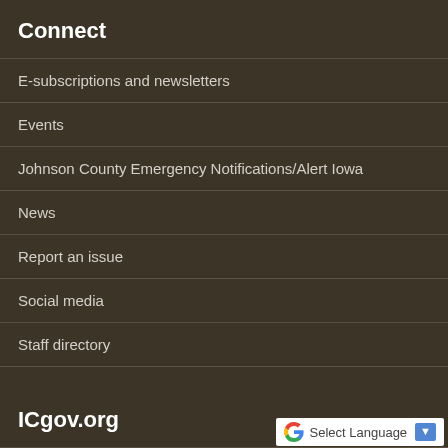Connect
E-subscriptions and newsletters
Events
Johnson County Emergency Notifications/Alert Iowa
News
Report an issue
Social media
Staff directory
ICgov.org
Accessibility
Current employee resources
Links policy
[Figure (logo): Google Translate widget showing 'G Select Language' with a dropdown arrow button]